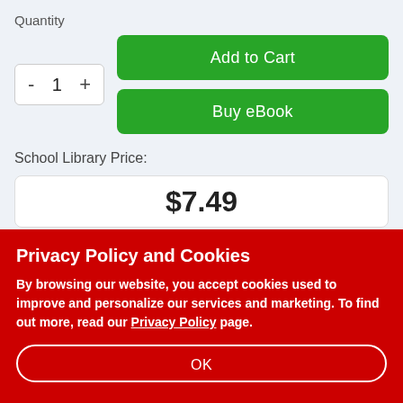Quantity
- 1 +
Add to Cart
Buy eBook
School Library Price:
$7.49
Privacy Policy and Cookies
By browsing our website, you accept cookies used to improve and personalize our services and marketing. To find out more, read our Privacy Policy page.
OK